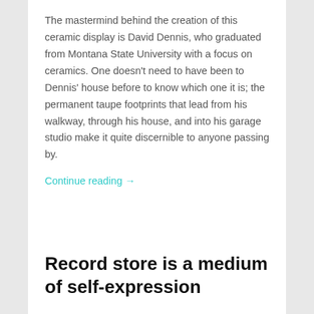The mastermind behind the creation of this ceramic display is David Dennis, who graduated from Montana State University with a focus on ceramics. One doesn't need to have been to Dennis' house before to know which one it is; the permanent taupe footprints that lead from his walkway, through his house, and into his garage studio make it quite discernible to anyone passing by.
Continue reading →
February 28, 2016   0
Record store is a medium of self-expression